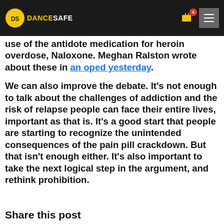DANCESAFE
use of the antidote medication for heroin overdose, Naloxone. Meghan Ralston wrote about these in an oped yesterday.
We can also improve the debate. It’s not enough to talk about the challenges of addiction and the risk of relapse people can face their entire lives, important as that is. It’s a good start that people are starting to recognize the unintended consequences of the pain pill crackdown. But that isn’t enough either. It’s also important to take the next logical step in the argument, and rethink prohibition.
Share this post